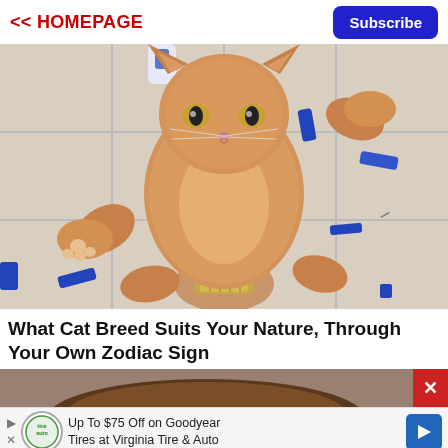<< HOMEPAGE
Subscribe
[Figure (photo): A fluffy orange tabby cat being held on its back by a person's hand (wearing a silver watch/bracelet), with the cat's paws spread out, lying over white ceramic floor tiles with blue objects scattered around.]
What Cat Breed Suits Your Nature, Through Your Own Zodiac Sign
[Figure (photo): Partial bottom strip showing top of a person's head with brown hair, partially visible.]
Up To $75 Off on Goodyear Tires at Virginia Tire & Auto